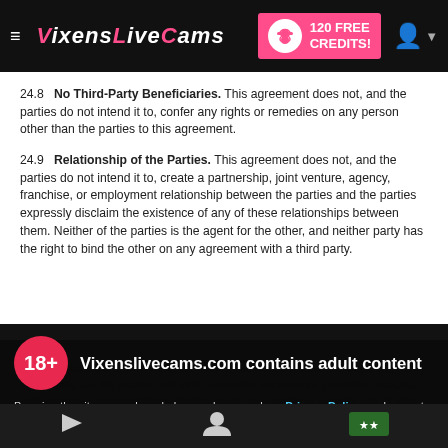VixensLiveCams — 120 FREE CREDITS!
24.8  No Third-Party Beneficiaries. This agreement does not, and the parties do not intend it to, confer any rights or remedies on any person other than the parties to this agreement.
24.9  Relationship of the Parties. This agreement does not, and the parties do not intend it to, create a partnership, joint venture, agency, franchise, or employment relationship between the parties and the parties expressly disclaim the existence of any of these relationships between them. Neither of the parties is the agent for the other, and neither party has the right to bind the other on any agreement with a third party.
[Figure (screenshot): Adult content age-gate overlay on VixensLiveCams.com. Contains 18+ circle badge, title 'Vixenslivecams.com contains adult content', privacy policy and terms notice, cookie notice, and I AGREE button.]